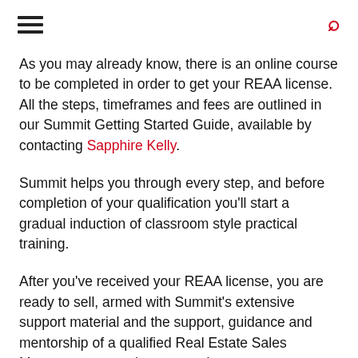[hamburger menu icon] [search icon]
As you may already know, there is an online course to be completed in order to get your REAA license. All the steps, timeframes and fees are outlined in our Summit Getting Started Guide, available by contacting Sapphire Kelly.
Summit helps you through every step, and before completion of your qualification you'll start a gradual induction of classroom style practical training.
After you've received your REAA license, you are ready to sell, armed with Summit's extensive support material and the support, guidance and mentorship of a qualified Real Estate Sales Manager at any sales transactions.
Summit has a nurturing environment where you are given encouragement and advice from experienced colleagues and